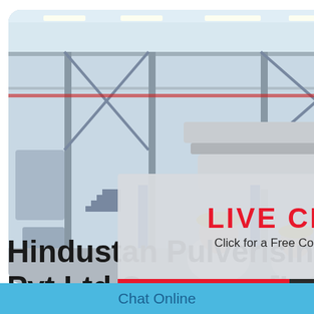[Figure (photo): Factory/industrial interior with conveyor equipment, steel girders, and ceiling lights]
[Figure (screenshot): Live chat popup overlay with red LIVE CHAT title, subtitle 'Click for a Free Consultation', close button, Chat now (red) and Chat later (dark) buttons]
[Figure (screenshot): Right-side chat widget on cyan background with smiley face gauge, 'est state for you!' text, 'Click me to chat >>' button, Enquiry section, and cywaitml@gmail.com email]
Hindustan Pulverising Pvt Ltd Company [Le...
Chat Online